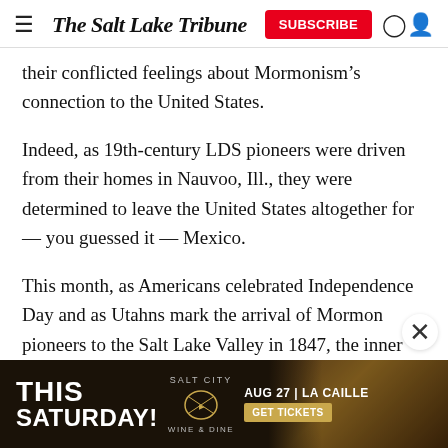The Salt Lake Tribune
their conflicted feelings about Mormonism’s connection to the United States.
Indeed, as 19th-century LDS pioneers were driven from their homes in Nauvoo, Ill., they were determined to leave the United States altogether for — you guessed it — Mexico.
This month, as Americans celebrated Independence Day and as Utahns mark the arrival of Mormon pioneers to the Salt Lake Valley in 1847, the inner tensions have
[Figure (other): Advertisement banner for Salt City Wine & Dine event: THIS SATURDAY! AUG 27 | LA CAILLE with GET TICKETS button, dark background with bokeh lights]